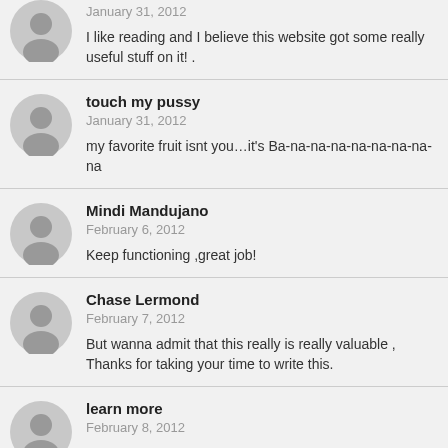January 31, 2012
I like reading and I believe this website got some really useful stuff on it! .
touch my pussy
January 31, 2012
my favorite fruit isnt you…it's Ba-na-na-na-na-na-na-na-na
Mindi Mandujano
February 6, 2012
Keep functioning ,great job!
Chase Lermond
February 7, 2012
But wanna admit that this really is really valuable , Thanks for taking your time to write this.
learn more
February 8, 2012